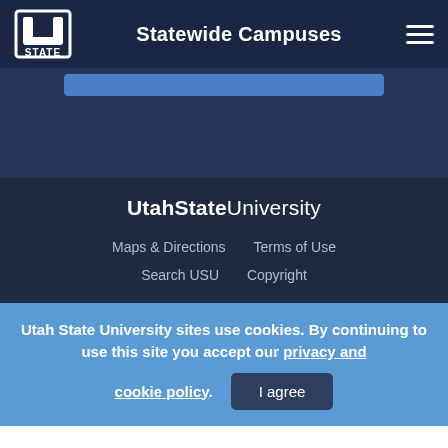Statewide Campuses
[Figure (logo): Utah State University U-block logo in white on dark background]
UtahState University
Maps & Directions   Terms of Use
Search USU   Copyright
Utah State University sites use cookies. By continuing to use this site you accept our privacy and cookie policy.
I agree